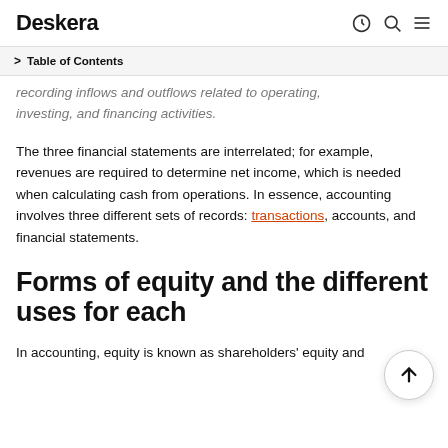Deskera
Table of Contents
recording inflows and outflows related to operating, investing, and financing activities.
The three financial statements are interrelated; for example, revenues are required to determine net income, which is needed when calculating cash from operations. In essence, accounting involves three different sets of records: transactions, accounts, and financial statements.
Forms of equity and the different uses for each
In accounting, equity is known as shareholders' equity and